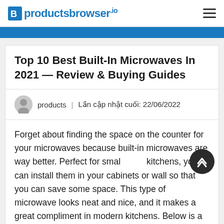productsbrowser
Top 10 Best Built-In Microwaves In 2021 — Review & Buying Guides
products | Lần cập nhật cuối: 22/06/2022
Forget about finding the space on the counter for your microwaves because built-in microwaves are way better. Perfect for small kitchens, you can install them in your cabinets or wall so that you can save some space. This type of microwave looks neat and nice, and it makes a great compliment in modern kitchens. Below is a list of 10 best built-in microwaves that you might want to checkout, that have been through rigorous...